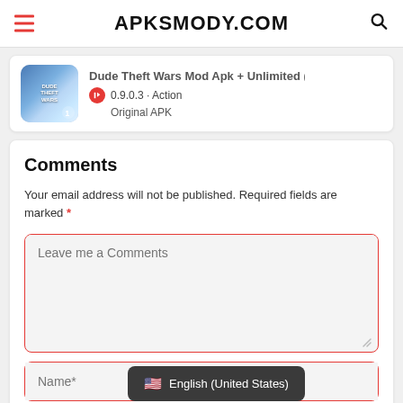APKSMODY.COM
[Figure (screenshot): App card showing Dude Theft Wars game with version 0.9.0.3, Action category, Original APK label]
Comments
Your email address will not be published. Required fields are marked *
Leave me a Comments (textarea placeholder)
Name* (input placeholder)
English (United States) (language popup)
Em (partial email input placeholder)